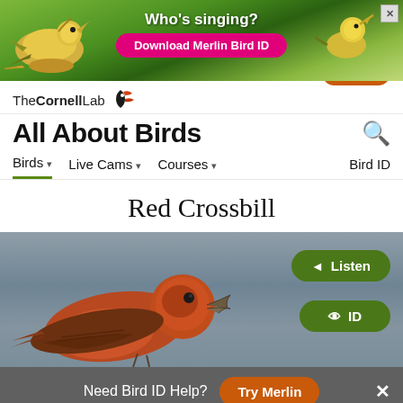[Figure (screenshot): Ad banner for Merlin Bird ID app with two birds on green background. Text: Who's singing? Download Merlin Bird ID]
[Figure (logo): The Cornell Lab logo with woodpecker icon]
Donate
All About Birds
Birds ▾   Live Cams ▾   Courses ▾   Bird ID
Red Crossbill
[Figure (photo): Photo of a Red Crossbill bird — reddish-orange plumage, dark wings, distinctive crossed bill — perched, with blurred gray background. Green Listen and ID buttons overlay.]
Need Bird ID Help?  Try Merlin
Overview  ID info  Life History  Maps  Sounds